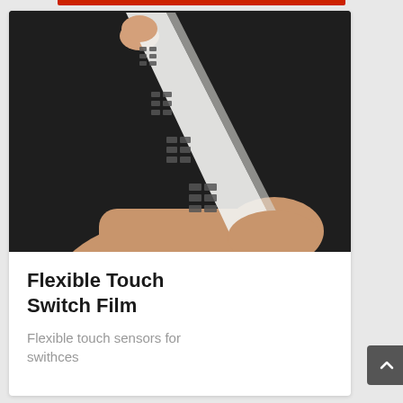[Figure (photo): A hand holding a thin flexible transparent film/strip with a grid of dark rectangular sensor pads printed on it, bent at an angle against a dark background.]
Flexible Touch Switch Film
Flexible touch sensors for swithces